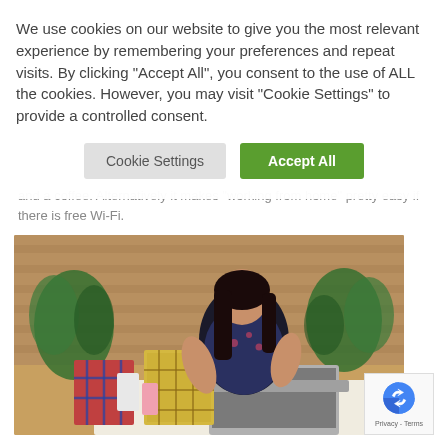and a coffee. Alternatively it makes 'working from home' pretty easy if there is free Wi-Fi.
[Figure (photo): Woman with dark hair sitting at a cafe table with shopping bags, a laptop, and a pink drink. Indoor cafe setting with plants in the background.]
We use cookies on our website to give you the most relevant experience by remembering your preferences and repeat visits. By clicking "Accept All", you consent to the use of ALL the cookies. However, you may visit "Cookie Settings" to provide a controlled consent.